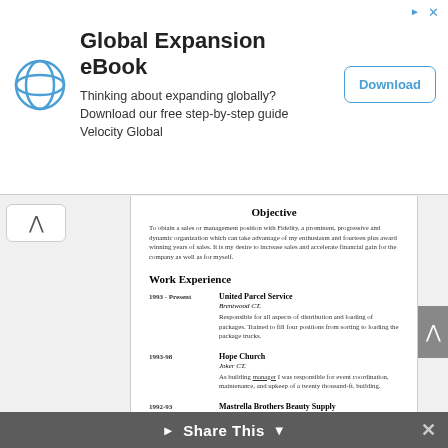[Figure (other): Advertisement banner: Global Expansion eBook by Velocity Global. 'Thinking about expanding globally? Download our free step-by-step guide Velocity Global' with a Download button and logo.]
Objective
To obtain a sales or management position with Fidelity, a prominent, progressive and dynamic organization which can take advantage of my enthusiasm and fourteen plus award winning years of sales. It is my desire to increase sales and accelerate financial gain for the company as well as for myself.
Work Experience
1993 - Present    United Parcel Service
Brentwood CT.
Responsible for all aspects of distribution and loading of packages. Trained to fill four positions from sorting to loading the package trucks.
1993-98    Hope Church
Joker CT.
As building manager I was responsible for event coordination, maintenance, and upkeep of a twenty thousand-ft. building.
1992-93    Mastrella Brothers Beauty Supply
Providence, RI.
Responsible for 13 Sales Consultants covering 3 states. Working with Manufactures Reps and participating in purchasing of promotions. Organization of Education classes and Trade Shows.
1992-Present    The Razor's Edge
Truxco CT.
President of a business specializing in the sale and sharpening of scissors to salons in CT and NY. Responsible for all purchasing…